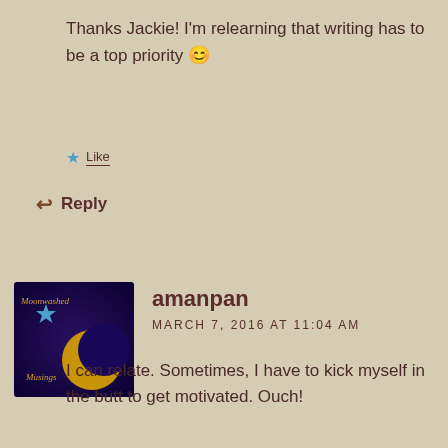Thanks Jackie! I'm relearning that writing has to be a top priority 😊
Like
Reply
[Figure (illustration): Avatar image for Moonwashed Musings blog showing crescent moon and star on dark purple background]
amanpan
MARCH 7, 2016 AT 11:04 AM
I can relate. Sometimes, I have to kick myself in the butt to get motivated. Ouch!
Liked by 1 person
Reply